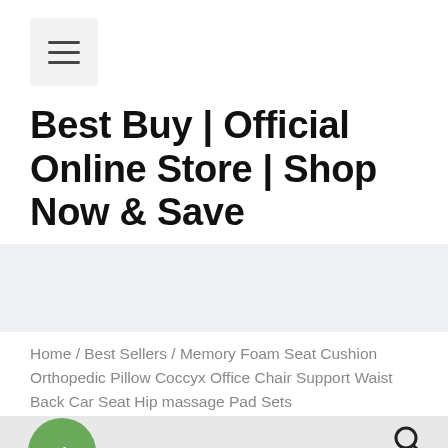[Figure (logo): Hamburger menu button icon with three horizontal bars on a light gray background]
Best Buy | Official Online Store | Shop Now & Save
Home / Best Sellers / Memory Foam Seat Cushion Orthopedic Pillow Coccyx Office Chair Support Waist Back Car Seat Hip massage Pad Sets
[Figure (photo): Product photo showing a memory foam seat cushion in navy blue color, with a small plant and bottles in the background. A green Sale! badge is in the lower left and a search icon in the lower right.]